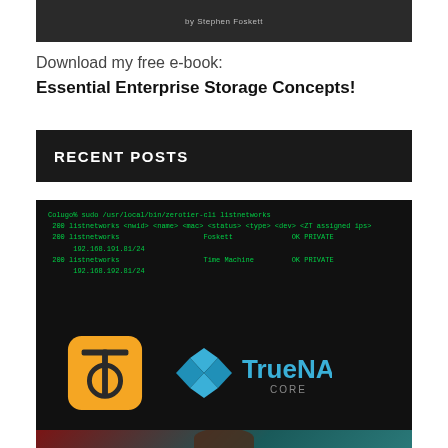[Figure (screenshot): Dark banner image with text 'by Stephen Foskett' in light gray on dark background]
Download my free e-book:
Essential Enterprise Storage Concepts!
RECENT POSTS
[Figure (screenshot): Blog post thumbnail showing terminal output with ZeroTier CLI listnetworks commands showing Foskett and Time Machine networks, overlaid with Colugo app icon and TrueNAS CORE logo, and a person's face illuminated in red/teal lighting at the bottom]